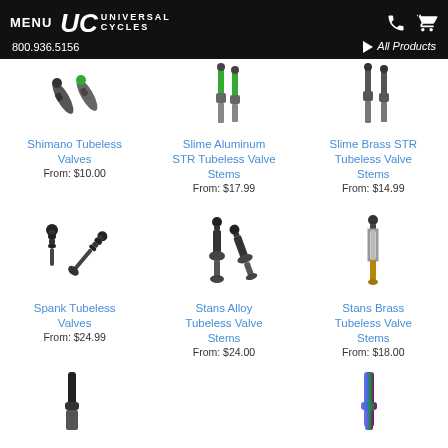MENU · UC Universal Cycles · 800.936.5156 · All Products
[Figure (photo): Shimano Tubeless Valves product image]
Shimano Tubeless Valves
From: $10.00
[Figure (photo): Slime Aluminum STR Tubeless Valve Stems product image]
Slime Aluminum STR Tubeless Valve Stems
From: $17.99
[Figure (photo): Slime Brass STR Tubeless Valve Stems product image]
Slime Brass STR Tubeless Valve Stems
From: $14.99
[Figure (photo): Spank Tubeless Valves product image]
Spank Tubeless Valves
From: $24.99
[Figure (photo): Stans Alloy Tubeless Valve Stems product image]
Stans Alloy Tubeless Valve Stems
From: $24.00
[Figure (photo): Stans Brass Tubeless Valve Stems product image]
Stans Brass Tubeless Valve Stems
From: $18.00
[Figure (photo): Partial product image bottom left]
[Figure (photo): Partial product image bottom right]